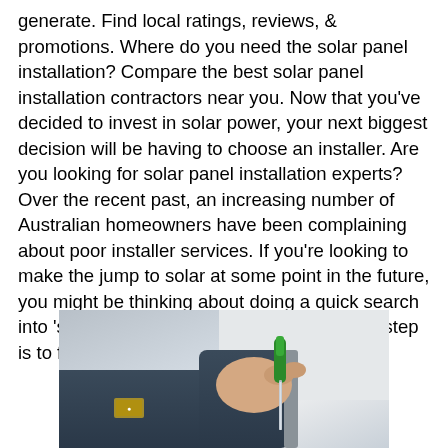generate. Find local ratings, reviews, & promotions. Where do you need the solar panel installation? Compare the best solar panel installation contractors near you. Now that you've decided to invest in solar power, your next biggest decision will be having to choose an installer. Are you looking for solar panel installation experts? Over the recent past, an increasing number of Australian homeowners have been complaining about poor installer services. If you're looking to make the jump to solar at some point in the future, you might be thinking about doing a quick search into 'solar panel installers near me.' The first step is to find solar panel installers in your area.
[Figure (photo): A person holding a screwdriver, wearing a dark blue uniform with a small logo patch, working on something. The image is partially cropped.]